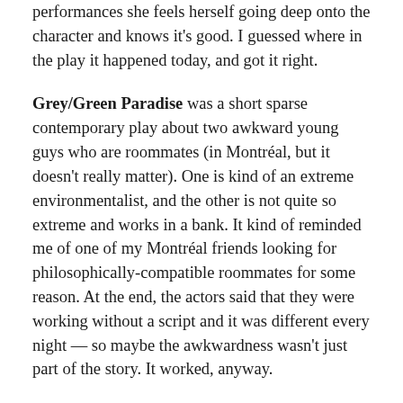performances she feels herself going deep onto the character and knows it's good. I guessed where in the play it happened today, and got it right.
Grey/Green Paradise was a short sparse contemporary play about two awkward young guys who are roommates (in Montréal, but it doesn't really matter). One is kind of an extreme environmentalist, and the other is not quite so extreme and works in a bank. It kind of reminded me of one of my Montréal friends looking for philosophically-compatible roommates for some reason. At the end, the actors said that they were working without a script and it was different every night — so maybe the awkwardness wasn't just part of the story. It worked, anyway.
There are a bunch more shows I want to see, if I have time and money this week. And if not, well, not.